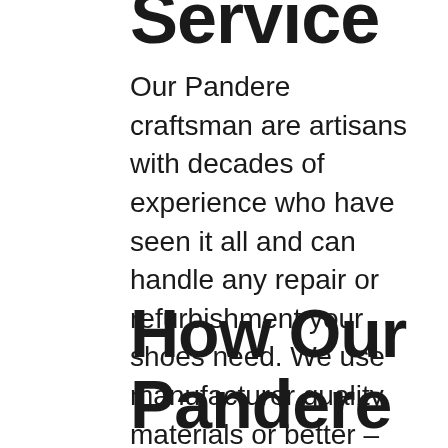Service
Our Pandere craftsman are artisans with decades of experience who have seen it all and can handle any repair or refurbishment your shoes need. We use manufacturer quality materials or better – plus top quality customer service, shipping and experience.Trust your shoe repair to us and you won't be disappointed.
How Our Pandere Shoe Repair Service Work